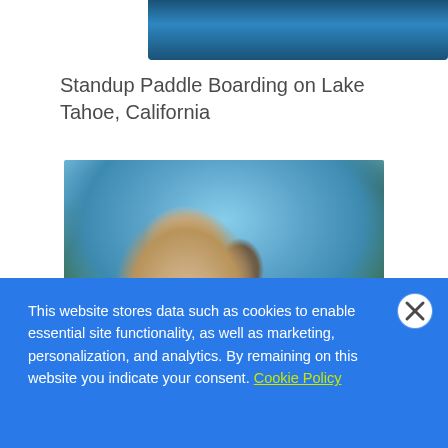[Figure (photo): Partial view of blue water surface at top of page]
Standup Paddle Boarding on Lake Tahoe, California
[Figure (photo): Close-up photo of a fluffy light-colored dog with tongue out, set against a blurred green leafy background and blue sky]
This website stores data such as cookies to enable essential site functionality, as well as marketing, personalization, and analytics. By remaining on this website you indicate your consent. Cookie Policy